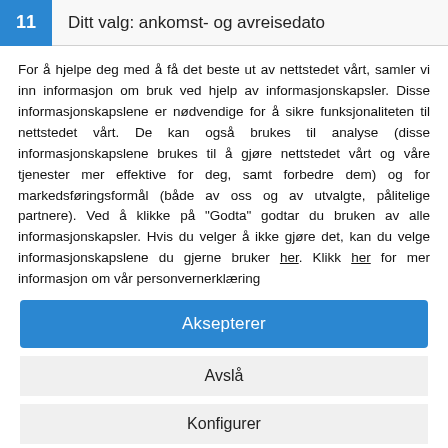11   Ditt valg: ankomst- og avreisedato
For å hjelpe deg med å få det beste ut av nettstedet vårt, samler vi inn informasjon om bruk ved hjelp av informasjonskapsler. Disse informasjonskapslene er nødvendige for å sikre funksjonaliteten til nettstedet vårt. De kan også brukes til analyse (disse informasjonskapslene brukes til å gjøre nettstedet vårt og våre tjenester mer effektive for deg, samt forbedre dem) og for markedsføringsformål (både av oss og av utvalgte, pålitelige partnere). Ved å klikke på "Godta" godtar du bruken av alle informasjonskapsler. Hvis du velger å ikke gjøre det, kan du velge informasjonskapslene du gjerne bruker her. Klikk her for mer informasjon om vår personvernerklæring
Aksepterer
Avslå
Konfigurer